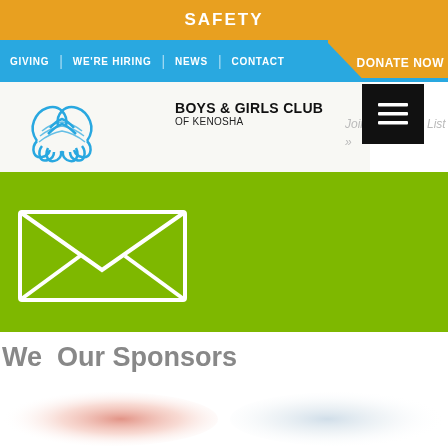SAFETY
GIVING | WE'RE HIRING | NEWS | CONTACT
DONATE NOW
[Figure (logo): Boys & Girls Club of Kenosha logo with two clasped hands in blue line art]
BOYS & GIRLS CLUB OF KENOSHA
Join Our Email List »
[Figure (illustration): White envelope icon on green background representing email list sign-up]
We  Our Sponsors
[Figure (photo): Two blurred sponsor logos partially visible — one red/orange on left, one blue-gray on right]